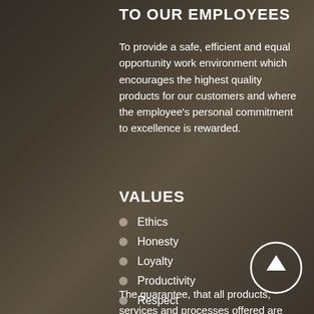TO OUR EMPLOYEES
To provide a safe, efficient and equal opportunity work environment which encourages the highest quality products for our customers and where the employee's personal commitment to excellence is rewarded.
VALUES
Ethics
Honesty
Loyalty
Productivity
Respect
Responsibility
Safety
The guarantee, that all products, services and processes offered are completed according